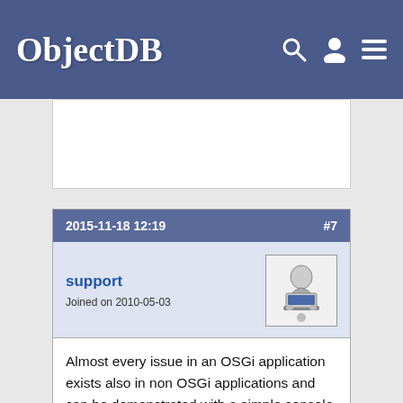ObjectDB
2015-11-18 12:19   #7
support
Joined on 2010-05-03
Almost every issue in an OSGi application exists also in non OSGi applications and can be demonstrated with a simple console application. In your last post FlushModeType.AUTO is set to the wrong EntityManager, i.e. to the one that is used to persist the object rather than to the EntityManager that is created later to retrieve the object.